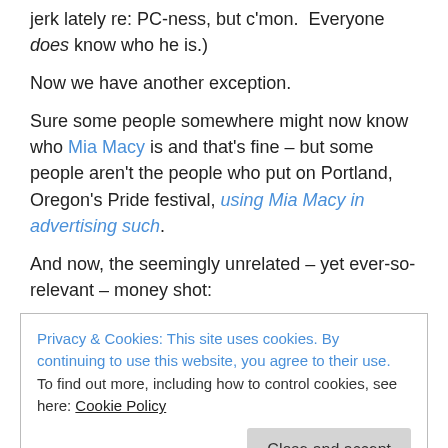jerk lately re: PC-ness, but c'mon.  Everyone does know who he is.)
Now we have another exception.
Sure some people somewhere might now know who Mia Macy is and that's fine – but some people aren't the people who put on Portland, Oregon's Pride festival, using Mia Macy in advertising such.
And now, the seemingly unrelated – yet ever-so-relevant – money shot:
Privacy & Cookies: This site uses cookies. By continuing to use this website, you agree to their use.
To find out more, including how to control cookies, see here: Cookie Policy
4 people like this